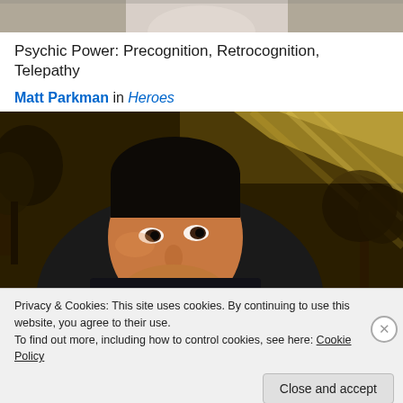[Figure (photo): Top portion of a person's photo, partially visible at the top of the page — appears to be a man in a light-colored shirt, cropped mostly out of frame.]
Psychic Power: Precognition, Retrocognition, Telepathy
Matt Parkman in Heroes
[Figure (photo): Promotional photo of Matt Parkman (character from Heroes TV show). A man with dark short hair looks intensely at the camera, face close to camera. Background shows stylized trees and dramatic golden/yellow light rays.]
Privacy & Cookies: This site uses cookies. By continuing to use this website, you agree to their use.
To find out more, including how to control cookies, see here: Cookie Policy
Close and accept